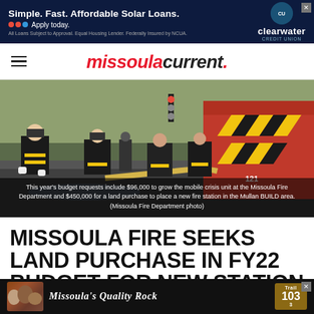[Figure (other): Advertisement banner: Simple. Fast. Affordable Solar Loans. Apply today. Clearwater Credit Union logo.]
missoulacurrent.
[Figure (photo): Missoula Fire Department firefighters working near a fire truck with yellow and red chevron markings, rolling hoses on a wet street.]
This year's budget requests include $96,000 to grow the mobile crisis unit at the Missoula Fire Department and $450,000 for a land purchase to place a new fire station in the Mullan BUILD area. (Missoula Fire Department photo)
MISSOULA FIRE SEEKS LAND PURCHASE IN FY22 BUDGET FOR NEW STATION IN MULLAN AREA
[Figure (other): Bottom advertisement: Missoula's Quality Rock, Trail 103.3 logo.]